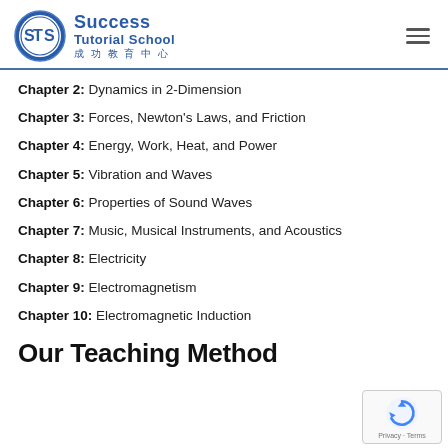[Figure (logo): Success Tutorial School logo with STS initials in a blue circle and school name in blue text with Chinese characters]
Chapter 2: Dynamics in 2-Dimension
Chapter 3: Forces, Newton's Laws, and Friction
Chapter 4: Energy, Work, Heat, and Power
Chapter 5: Vibration and Waves
Chapter 6: Properties of Sound Waves
Chapter 7: Music, Musical Instruments, and Acoustics
Chapter 8: Electricity
Chapter 9: Electromagnetism
Chapter 10: Electromagnetic Induction
Our Teaching Method